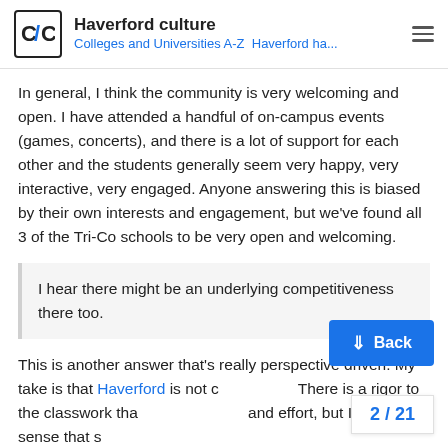Haverford culture | Colleges and Universities A-Z  Haverford ha...
In general, I think the community is very welcoming and open. I have attended a handful of on-campus events (games, concerts), and there is a lot of support for each other and the students generally seem very happy, very interactive, very engaged. Anyone answering this is biased by their own interests and engagement, but we've found all 3 of the Tri-Co schools to be very open and welcoming.
I hear there might be an underlying competitiveness there too.
This is another answer that's really perspective driven. My take is that Haverford is not c... There is a rigor to the classwork that... and effort, but I get the sense that s